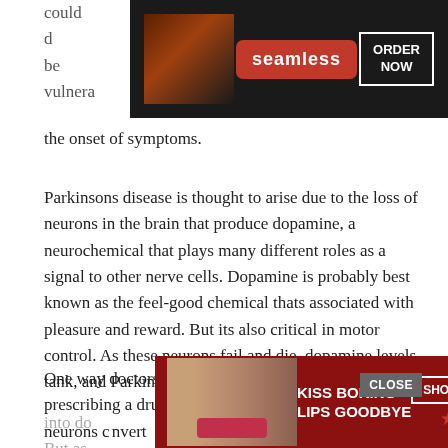could ...d be vulnera...fore the onset of symptoms.
[Figure (screenshot): Seamless food delivery advertisement banner with pizza image, red 'seamless' logo button, and 'ORDER NOW' button on dark background]
Parkinsons disease is thought to arise due to the loss of neurons in the brain that produce dopamine, a neurochemical that plays many different roles as a signal to other nerve cells. Dopamine is probably best known as the feel-good chemical thats associated with pleasure and reward. But its also critical in motor control. As these neurons fail and die, dopamine levels tank, and Parkinsons symptoms can worsen.
One way doctors treat Parkinsons is through prescribing a drug called levodopa, which the bodys neurons c...nvert into do...malcy. But as...s die
[Figure (screenshot): Macy's advertisement banner with woman's face, 'KISS BORING LIPS GOODBYE' text, 'SHOP NOW' button, and Macy's star logo on dark red background]
[Figure (screenshot): CLOSE button overlay in gray]